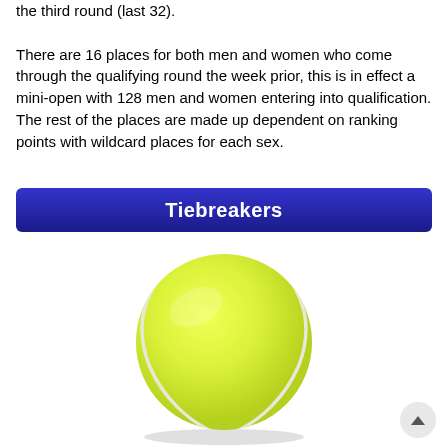the third round (last 32).

There are 16 places for both men and women who come through the qualifying round the week prior, this is in effect a mini-open with 128 men and women entering into qualification. The rest of the places are made up dependent on ranking points with wildcard places for each sex.
Tiebreakers
[Figure (photo): A yellow-green tennis ball with white seam lines, photographed against a white background.]